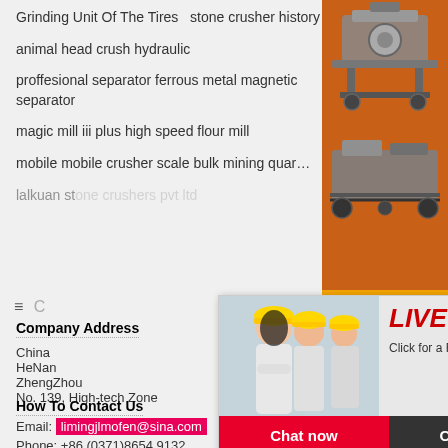Grinding Unit Of The Tires   stone crusher history
animal head crush hydraulic
proffesional separator ferrous metal magnetic separator
magic mill iii plus high speed flour mill
mobile mobile crusher scale bulk mining quar…
lalkuan stone crushers pvt ltd
[Figure (photo): Live chat popup with woman in hard hat workers, red LIVE CHAT text, Chat now and Chat later buttons]
[Figure (photo): Orange side panel with mining machinery images]
Company Address
China
HeNan
ZhengZhou
No. 139, High-tech Zone
Enjoy 3% discount Click to Chat
Enquiry
limingjlmofen @sina.com
How To Contact Us
Email: limingjlmofen@sina.com
Phone: +86 (0371)8654 9132